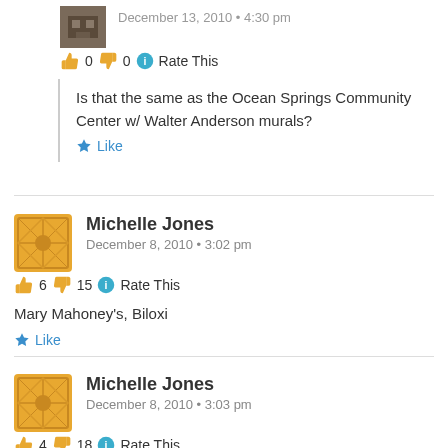December 13, 2010 • 4:30 pm
👍 0 👎 0 ℹ Rate This
Is that the same as the Ocean Springs Community Center w/ Walter Anderson murals?
★ Like
Michelle Jones
December 8, 2010 • 3:02 pm
👍 6 👎 15 ℹ Rate This
Mary Mahoney's, Biloxi
★ Like
Michelle Jones
December 8, 2010 • 3:03 pm
👍 4 👎 18 ℹ Rate This